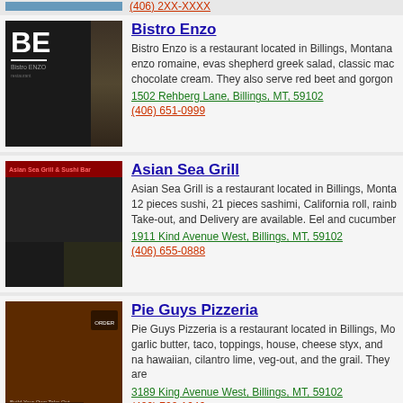(406) 2XX-XXXX
[Figure (screenshot): Bistro Enzo restaurant website screenshot showing BE logo on dark background]
Bistro Enzo
Bistro Enzo is a restaurant located in Billings, Montana. enzo romaine, evas shepherd greek salad, classic mac chocolate cream. They also serve red beet and gorgon...
1502 Rehberg Lane, Billings, MT, 59102
(406) 651-0999
[Figure (screenshot): Asian Sea Grill restaurant website screenshot with dark red header and interior photo]
Asian Sea Grill
Asian Sea Grill is a restaurant located in Billings, Montana. 12 pieces sushi, 21 pieces sashimi, California roll, rainb... Take-out, and Delivery are available. Eel and cucumber...
1911 Kind Avenue West, Billings, MT, 59102
(406) 655-0888
[Figure (screenshot): Pie Guys Pizzeria restaurant website screenshot showing pizza photo with dark background]
Pie Guys Pizzeria
Pie Guys Pizzeria is a restaurant located in Billings, Mo... garlic butter, taco, toppings, house, cheese styx, and na... hawaiian, cilantro lime, veg-out, and the grail. They are...
3189 King Avenue West, Billings, MT, 59102
(406) 702-1646
[Figure (screenshot): Jake's Bar & Grill restaurant website screenshot showing dark bar interior]
Jake's Bar & Grill
Jake's Bar & Grill is a restaurant located in Billings, Mon... legs, london on the greens, korean tacos, salmon, grille... serve blackened bistro steak wrap, hot crab appetizer, s...
2425 Gabel Road, Billings, MT, 59102
(406) 252-9375